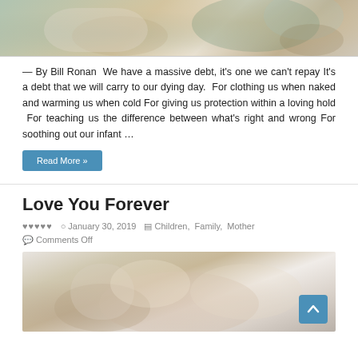[Figure (photo): Partial photo of a person holding something teal/blue, sitting on a patterned sofa, cropped at top of page]
— By Bill Ronan  We have a massive debt, it's one we can't repay It's a debt that we will carry to our dying day.  For clothing us when naked and warming us when cold For giving us protection within a loving hold  For teaching us the difference between what's right and wrong For soothing out our infant …
Read More »
Love You Forever
January 30, 2019   Children,  Family,  Mother   Comments Off
[Figure (photo): Photo of a mother holding and cuddling a smiling baby, partial view at bottom of page]